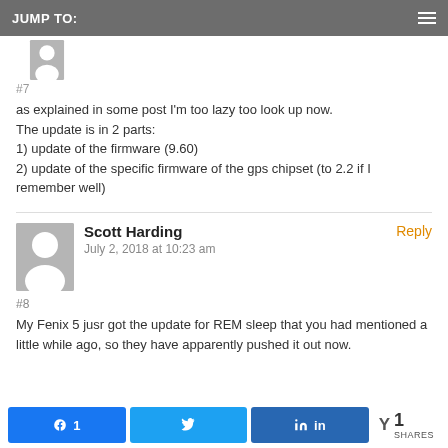JUMP TO:
#7
as explained in some post I'm too lazy too look up now.
The update is in 2 parts:
1) update of the firmware (9.60)
2) update of the specific firmware of the gps chipset (to 2.2 if I remember well)
Scott Harding
July 2, 2018 at 10:23 am
Reply
#8
My Fenix 5 jusr got the update for REM sleep that you had mentioned a little while ago, so they have apparently pushed it out now.
1
SHARES